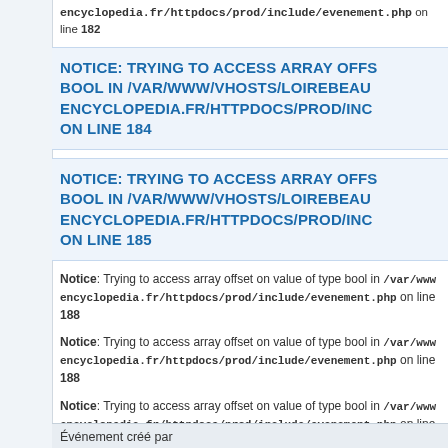encyclopedia.fr/httpdocs/prod/include/evenement.php on line 182
NOTICE: TRYING TO ACCESS ARRAY OFFSET ON VALUE OF TYPE BOOL IN /VAR/WWW/VHOSTS/LOIREBEAUTY-ENCYCLOPEDIA.FR/HTTPDOCS/PROD/INCLUDE/EVENEMENT.PHP ON LINE 184
NOTICE: TRYING TO ACCESS ARRAY OFFSET ON VALUE OF TYPE BOOL IN /VAR/WWW/VHOSTS/LOIREBEAUTY-ENCYCLOPEDIA.FR/HTTPDOCS/PROD/INCLUDE/EVENEMENT.PHP ON LINE 185
Notice: Trying to access array offset on value of type bool in /var/www/encyclopedia.fr/httpdocs/prod/include/evenement.php on line 188
Notice: Trying to access array offset on value of type bool in /var/www/encyclopedia.fr/httpdocs/prod/include/evenement.php on line 188
Notice: Trying to access array offset on value of type bool in /var/www/encyclopedia.fr/httpdocs/prod/include/evenement.php on line 188
Événement créé par